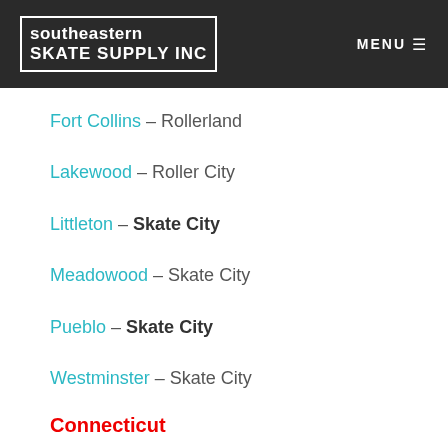southeastern SKATE SUPPLY INC | MENU
Fort Collins – Rollerland
Lakewood – Roller City
Littleton – Skate City
Meadowood – Skate City
Pueblo – Skate City
Westminster – Skate City
Connecticut